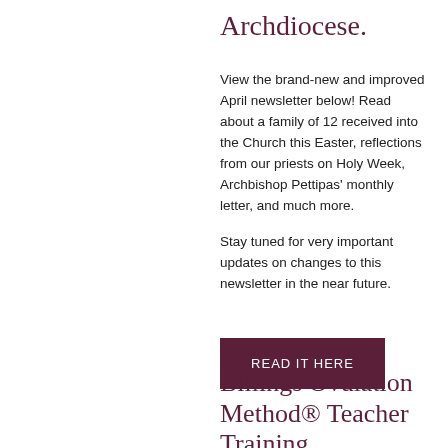Archdiocese.
View the brand-new and improved April newsletter below! Read about a family of 12 received into the Church this Easter, reflections from our priests on Holy Week, Archbishop Pettipas' monthly letter, and much more.
Stay tuned for very important updates on changes to this newsletter in the near future.
READ IT HERE
Billings Ovulation Method® Teacher Training